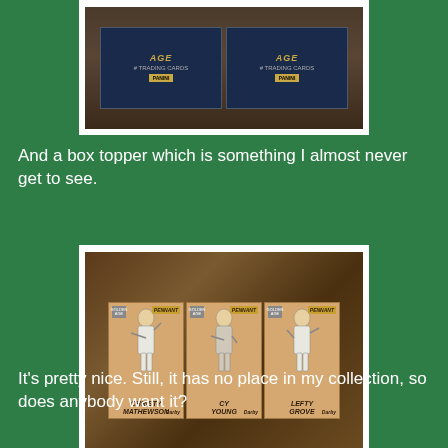[Figure (photo): Photo of two AGE Trading Cards packs (Panini) on a wooden or dark surface]
And a box topper which is something I almost never get to see.
[Figure (photo): Photo of three vintage-style baseball trading cards (Christy Mathewson, Cy Young, Lefty Grove) with Pennant and Darby branding, laid on a wooden surface]
It's pretty nice. Still, it has no place in my collection, so does anybody want it?